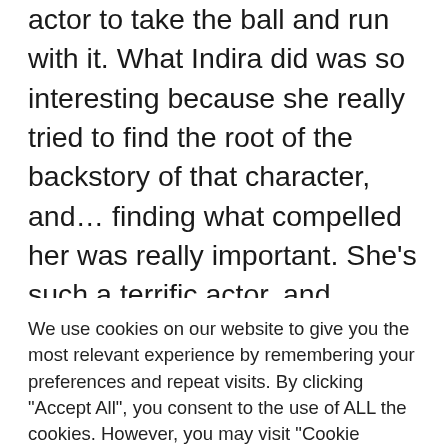actor to take the ball and run with it. What Indira did was so interesting because she really tried to find the root of the backstory of that character, and… finding what compelled her was really important. She's such a terrific actor, and hopefully what she contributes is not only to the wider galaxy, but is very specific to Obi-Wan's story and where he needs to go spiritually and physically in order to become the man he
We use cookies on our website to give you the most relevant experience by remembering your preferences and repeat visits. By clicking "Accept All", you consent to the use of ALL the cookies. However, you may visit "Cookie Settings" to provide a controlled consent.
Cookie Settings
Accept All